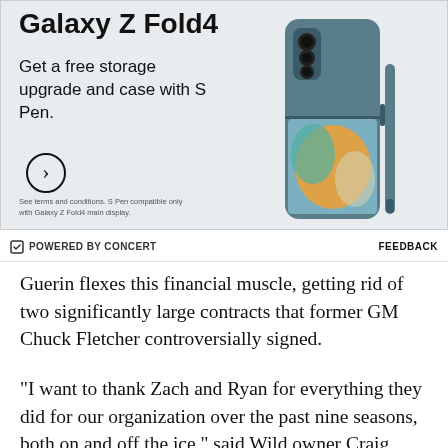[Figure (advertisement): Samsung Galaxy Z Fold4 advertisement. Text reads: 'Galaxy Z Fold4 — Get a free storage upgrade and case with S Pen.' with a circle arrow button and fine print: 'See terms and conditions. S Pen compatible only with Galaxy Z Fold4 main display.' Product image shows a teal/grey foldable phone with S Pen on the right side.]
POWERED BY CONCERT   FEEDBACK
Guerin flexes this financial muscle, getting rid of two significantly large contracts that former GM Chuck Fletcher controversially signed.
“I want to thank Zach and Ryan for everything they did for our organization over the past nine seasons, both on and off the ice,” said Wild owner Craig Leipold. “They were tremendous ambassadors for our team and helped us win a lot of games. I wish them nothing but